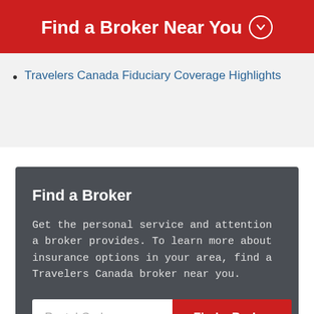Find a Broker Near You
Travelers Canada Fiduciary Coverage Highlights
Find a Broker
Get the personal service and attention a broker provides. To learn more about insurance options in your area, find a Travelers Canada broker near you.